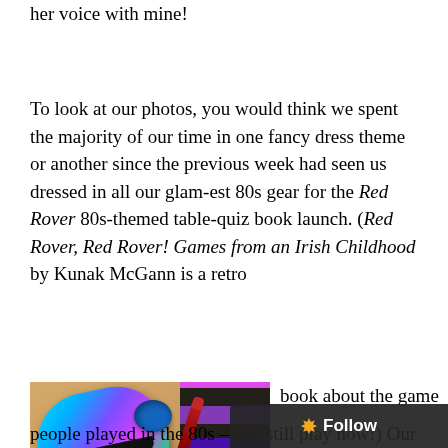...and Emma helpfully provided the chain and joined her voice with mine!
To look at our photos, you would think we spent the majority of our time in one fancy dress theme or another since the previous week had seen us dressed in all our glam-est 80s gear for the Red Rover 80s-themed table-quiz book launch. (Red Rover, Red Rover! Games from an Irish Childhood by Kunak McGann is a retro
[Figure (photo): Photo of 80s themed items including iridescent/holographic shoes, a blue scrunchie, a red lipstick, striped fabric in purple/black/pink, and a red book cover reading 'RED ROVER, RED ROVER! GAMES FROM AN IRISH CHILDHOOD' by Cuak McGann]
book about the games people played in the 80s – and still play now!) Our f...
Follow